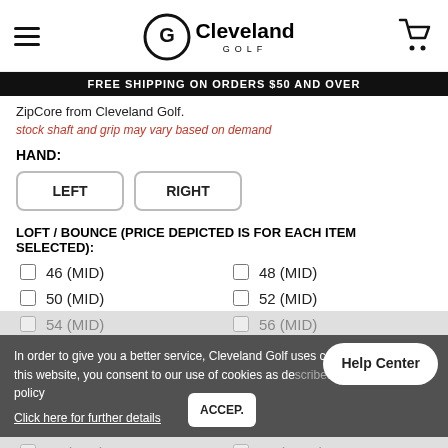Cleveland Golf - FREE SHIPPING ON ORDERS $50 AND OVER
ZipCore from Cleveland Golf.
stock shaft and grip may vary based on demand
HAND:
LEFT
RIGHT
LOFT / BOUNCE (PRICE DEPICTED IS FOR EACH ITEM SELECTED):
46 (MID)
48 (MID)
50 (MID)
52 (MID)
54 (MID)
56 (MID)
58 (MID)
58 (LOW)
60 (MID)
60 (LOW)
62 (LOW)
SHAFT TYPE:
In order to give you a better service, Cleveland Golf uses cookies. By using this website, you consent to our use of cookies as described in our privacy policy
Click here for further details
Help Center
ACCEP.